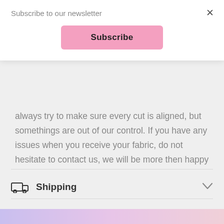Subscribe to our newsletter
Subscribe
always try to make sure every cut is aligned, but somethings are out of our control. If you have any issues when you receive your fabric, do not hesitate to contact us, we will be more then happy to help!
Shipping
Return policy